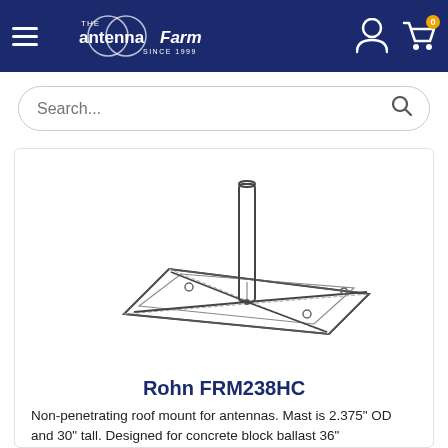The Antenna Farm - Since 1999
[Figure (screenshot): Search bar with placeholder text 'Search...' and a magnifying glass icon]
[Figure (engineering-diagram): Line drawing / schematic of the Rohn FRM238HC non-penetrating roof mount: a flat rectangular base frame with diagonal bracing struts meeting at a central vertical mast pipe]
Rohn FRM238HC
Non-penetrating roof mount for antennas. Mast is 2.375" OD and 30" tall. Designed for concrete block ballast 36"